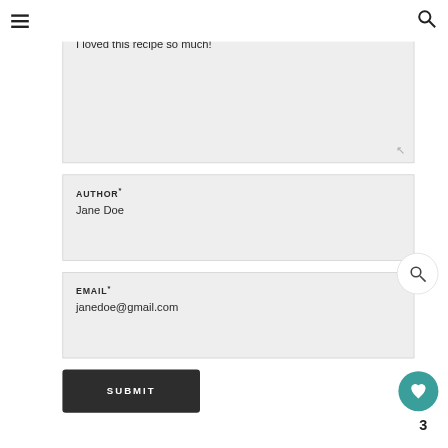MESSAGE
I loved this recipe so much!
AUTHOR*
Jane Doe
EMAIL*
janedoe@gmail.com
SUBMIT
This site uses Akismet to reduce spam. Learn